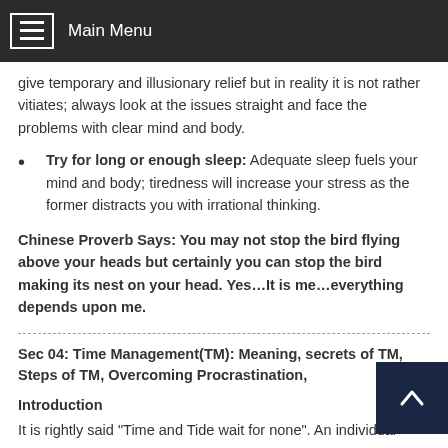Main Menu
give temporary and illusionary relief but in reality it is not rather vitiates; always look at the issues straight and face the problems with clear mind and body.
Try for long or enough sleep: Adequate sleep fuels your mind and body; tiredness will increase your stress as the former distracts you with irrational thinking.
Chinese Proverb Says: You may not stop the bird flying above your heads but certainly you can stop the bird making its nest on your head. Yes…It is me…everything depends upon me.
Sec 04: Time Management(TM): Meaning, secrets of TM, Steps of TM, Overcoming Procrastination,
Introduction
It is rightly said "Time and Tide wait for none". An individual